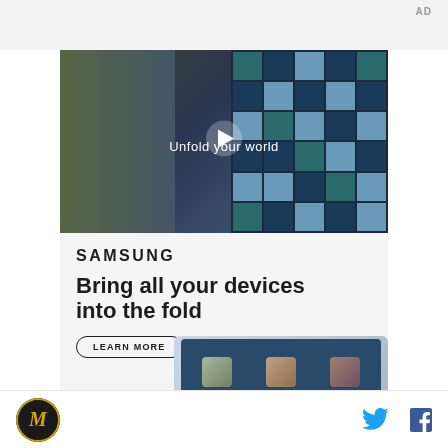AD
[Figure (screenshot): Video thumbnail showing a young man in a denim jacket walking through what appears to be a cafeteria or food court with large grid windows in the background. A white play button is overlaid in the center. Text overlay reads 'Unfold your world'.]
[Figure (screenshot): Samsung advertisement banner. Shows Samsung logo, tagline 'Bring all your devices into the fold', a 'LEARN MORE' button, and an image of Samsung devices including a tablet showing a video call with three people.]
Site logo (M) | Twitter icon | Facebook icon